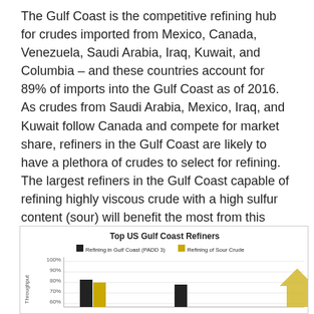The Gulf Coast is the competitive refining hub for crudes imported from Mexico, Canada, Venezuela, Saudi Arabia, Iraq, Kuwait, and Columbia – and these countries account for 89% of imports into the Gulf Coast as of 2016. As crudes from Saudi Arabia, Mexico, Iraq, and Kuwait follow Canada and compete for market share, refiners in the Gulf Coast are likely to have a plethora of crudes to select for refining. The largest refiners in the Gulf Coast capable of refining highly viscous crude with a high sulfur content (sour) will benefit the most from this competition.
[Figure (grouped-bar-chart): Top US Gulf Coast Refiners]